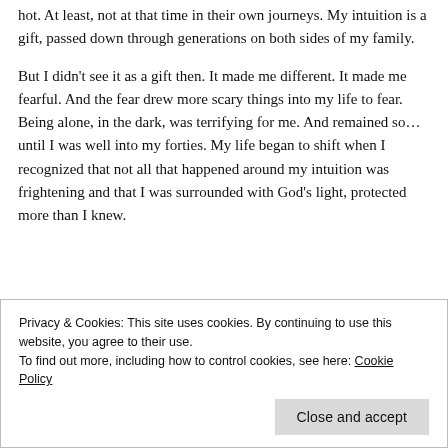hot. At least, not at that time in their own journeys. My intuition is a gift, passed down through generations on both sides of my family.
But I didn't see it as a gift then. It made me different. It made me fearful. And the fear drew more scary things into my life to fear. Being alone, in the dark, was terrifying for me. And remained so...until I was well into my forties. My life began to shift when I recognized that not all that happened around my intuition was frightening and that I was surrounded with God's light, protected more than I knew.
Privacy & Cookies: This site uses cookies. By continuing to use this website, you agree to their use.
To find out more, including how to control cookies, see here: Cookie Policy